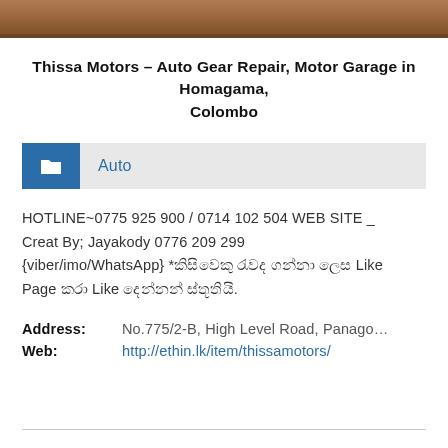[Figure (photo): Wooden surface / shelf photo strip at top of page]
Thissa Motors – Auto Gear Repair, Motor Garage in Homagama, Colombo
Auto (category label with folder icon)
HOTLINE~0775 925 900 / 0714 102 504 WEB SITE _ Creat By; Jayakody 0776 209 299 {viber/imo/WhatsApp} *කිසිවෙකු රැවද ගන්නා ලෙස Like Page කරා Like දෙන්නන් ස්තූතියි.
Address: No.775/2-B, High Level Road, Panago...
Web: http://ethin.lk/item/thissamotors/